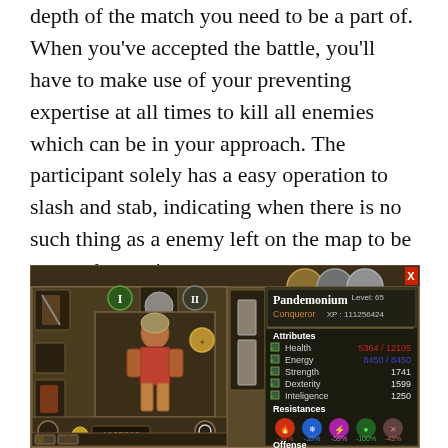depth of the match you need to be a part of. When you've accepted the battle, you'll have to make use of your preventing expertise at all times to kill all enemies which can be in your approach. The participant solely has a easy operation to slash and stab, indicating when there is no such thing as a enemy left on the map to be counted as a victory.
[Figure (screenshot): Game UI screenshot of a character named Pandemonium, Conqueror, Level 65, XP: 111256424. Shows a warrior character with equipment slots. Attributes: Health 5364/12105, Energy 8450/8450, Strength 1741, Dexterity 1599, Intelligence 1250. Resistances shown as icons with values -34%, -39%, -59%, -100%, -43%. Offense section visible at bottom. Gold shown as 1035502.]